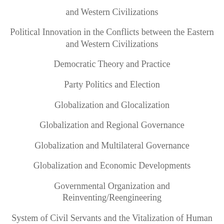and Western Civilizations
Political Innovation in the Conflicts between the Eastern and Western Civilizations
Democratic Theory and Practice
Party Politics and Election
Globalization and Glocalization
Globalization and Regional Governance
Globalization and Multilateral Governance
Globalization and Economic Developments
Governmental Organization and Reinventing/Reengineering
System of Civil Servants and the Vitalization of Human